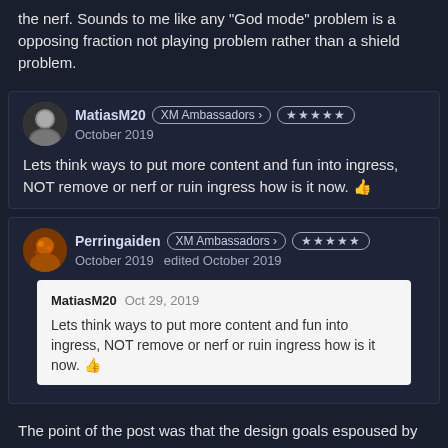the nerf. Sounds to me like any "God mode" problem is a opposing fraction not playing problem rather than a shield problem.
MatiasM20 · XM Ambassadors · ★★★★★ · October 2019
Lets think ways to put more content and fun into ingress, NOT remove or nerf or ruin ingress how is it now. 👍
Perringaiden · XM Ambassadors · ★★★★★ · October 2019 · edited October 2019
MatiasM20 Oct 29, 2019
Lets think ways to put more content and fun into ingress, NOT remove or nerf or ruin ingress how is it now. 👍
The point of the post was that the design goals espoused by